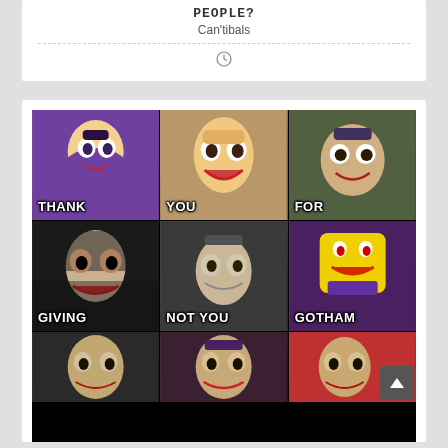PEOPLE?
Can'tibals
[Figure (illustration): Clock/timer icon]
[Figure (photo): 3x3 grid meme collage of various Joker portrayals (animated, Cesar Romero, Jack Nicholson, Heath Ledger, Jared Leto, LEGO Joker, and three more) with white Impact-font text overlay reading: THANK / YOU / FOR / GIVING / NOT YOU / GOTHAM, and a partially visible third row.]